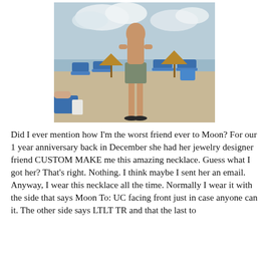[Figure (photo): A shirtless man in denim shorts standing on a beach with blue lounge chairs and thatched umbrellas in the background.]
Did I ever mention how I'm the worst friend ever to Moon? For our 1 year anniversary back in December she had her jewelry designer friend CUSTOM MAKE me this amazing necklace. Guess what I got her? That's right. Nothing. I think maybe I sent her an email. Anyway, I wear this necklace all the time. Normally I wear it with the side that says Moon To: UC facing front just in case anyone can it. The other side says LTLT TR and that the last to